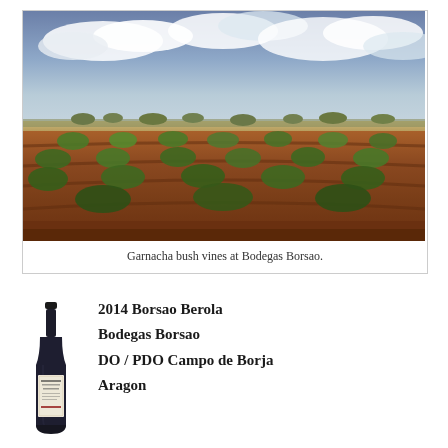[Figure (photo): Photograph of Garnacha bush vines growing in red-brown soil at Bodegas Borsao, with a wide sky of blue and clouds in the background and green vine rows stretching to the horizon.]
Garnacha bush vines at Bodegas Borsao.
[Figure (photo): Small wine bottle image of 2014 Borsao Berola.]
2014 Borsao Berola
Bodegas Borsao
DO / PDO Campo de Borja
Aragon